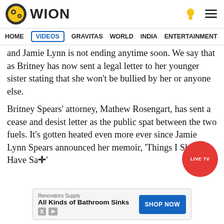WION
HOME | VIDEOS | GRAVITAS | WORLD | INDIA | ENTERTAINMENT | SPORT
and Jamie Lynn is not ending anytime soon. We say that as Britney has now sent a legal letter to her younger sister stating that she won't be bullied by her or anyone else.
Britney Spears' attorney, Mathew Rosengart, has sent a cease and desist letter as the public spat between the two fuels. It's gotten heated even more ever since Jamie Lynn Spears announced her memoir, 'Things I Should Have Sa✛'